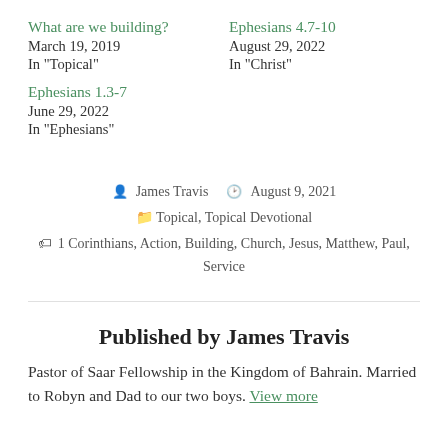What are we building?
March 19, 2019
In "Topical"
Ephesians 4.7-10
August 29, 2022
In "Christ"
Ephesians 1.3-7
June 29, 2022
In "Ephesians"
James Travis  August 9, 2021
Topical, Topical Devotional
1 Corinthians, Action, Building, Church, Jesus, Matthew, Paul, Service
Published by James Travis
Pastor of Saar Fellowship in the Kingdom of Bahrain. Married to Robyn and Dad to our two boys. View more